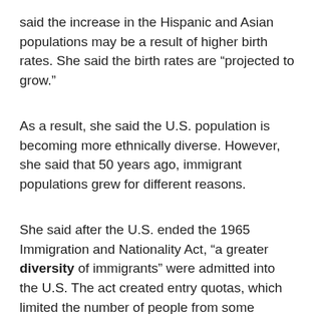said the increase in the Hispanic and Asian populations may be a result of higher birth rates. She said the birth rates are “projected to grow.”
As a result, she said the U.S. population is becoming more ethnically diverse. However, she said that 50 years ago, immigrant populations grew for different reasons.
She said after the U.S. ended the 1965 Immigration and Nationality Act, “a greater diversity of immigrants” were admitted into the U.S. The act created entry quotas, which limited the number of people from some countries who were allowed to enter the U.S.